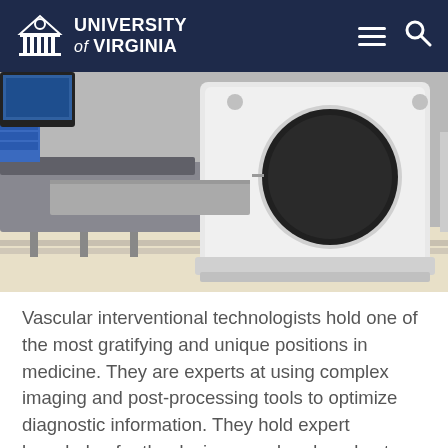University of Virginia
[Figure (photo): CT scanner machine in a medical imaging room with a patient table visible on the left side. The scanner is a large white cylindrical device with a circular bore opening. Medical equipment and blue storage containers are visible in the background.]
Vascular interventional technologists hold one of the most gratifying and unique positions in medicine. They are experts at using complex imaging and post-processing tools to optimize diagnostic information. They hold expert knowledge for the devices used and are best suited to assist physicians in their appropriate and safe use. They are first assistants to